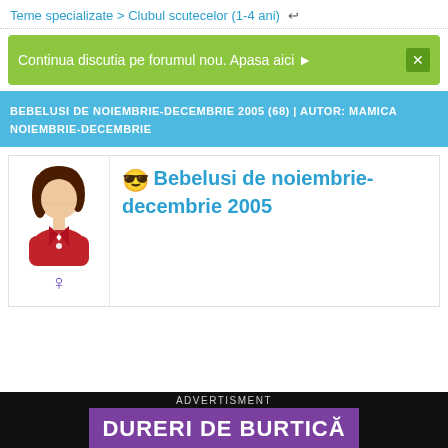Teme specializate > Clubul scutecelor (1-4 ani)
Continua discutia pe forumul nou. Apasa aici ▶
BEBELUSI DE NOIEMBRIE-DECEMBRIE 2005 (68) | AUTOR: MAMICA NOIEMBRIE-DECEMBRIE
[Figure (photo): Female avatar icon in red jacket, no face shown, with female gender symbol below]
Bebelusi de noiembrie-decembrie 2005
ADVERTISMENT
DURERI DE BURTICĂ